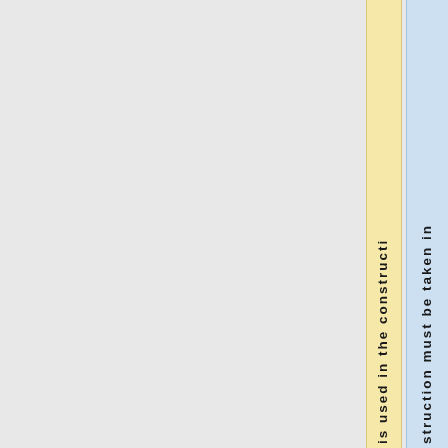is used in the construction
structure must be taken in